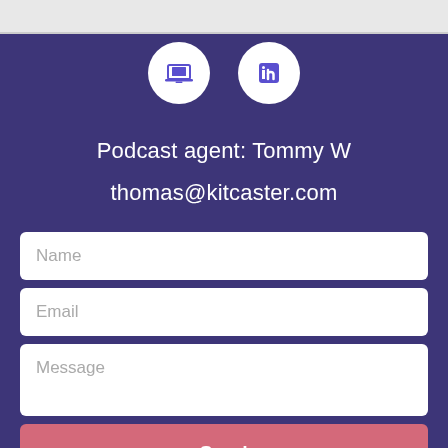[Figure (illustration): Two circular white icon buttons: a laptop/computer icon and a LinkedIn icon, centered on a dark purple background]
Podcast agent: Tommy W
thomas@kitcaster.com
Name
Email
Message
Send